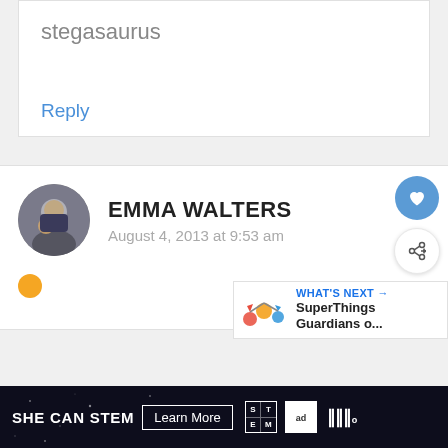stegasaurus
Reply
EMMA WALTERS
August 4, 2013 at 9:53 am
[Figure (infographic): What's Next promotional bar with SuperThings Guardians o... text and colorful figures]
[Figure (logo): SHE CAN STEM advertisement banner with Learn More button, STEM logo, Ad Council logo, and wave icon]
SHE CAN STEM  Learn More